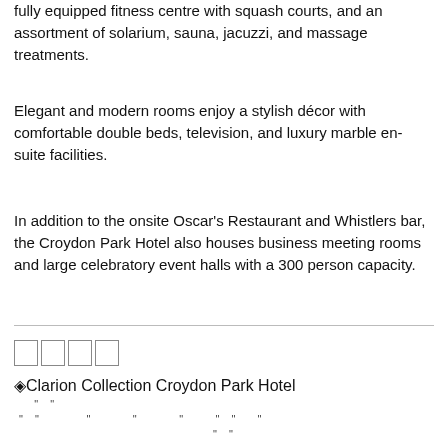fully equipped fitness centre with squash courts, and an assortment of solarium, sauna, jacuzzi, and massage treatments.
Elegant and modern rooms enjoy a stylish décor with comfortable double beds, television, and luxury marble en-suite facilities.
In addition to the onsite Oscar's Restaurant and Whistlers bar, the Croydon Park Hotel also houses business meeting rooms and large celebratory event halls with a 300 person capacity.
[Figure (other): Four empty star/rating boxes]
◈Clarion Collection Croydon Park Hotel
" "
" "        "        "        "      " "  "
" "